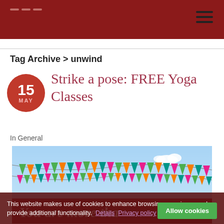Tag Archive > unwind
Strike a pose: FREE Yoga Classes
In General
[Figure (illustration): Colorful bunting flags against a blue sky background with the text 'You are more than' visible at the bottom in decorative script.]
This website makes use of cookies to enhance browsing experience and provide additional functionality.  Details  Privacy policy